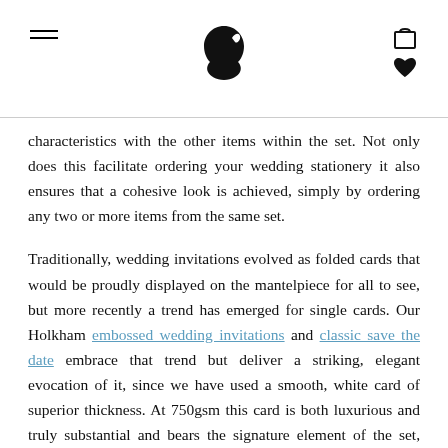[hamburger menu] [bear/animal logo] [cart and heart icons]
characteristics with the other items within the set. Not only does this facilitate ordering your wedding stationery it also ensures that a cohesive look is achieved, simply by ordering any two or more items from the same set.
Traditionally, wedding invitations evolved as folded cards that would be proudly displayed on the mantelpiece for all to see, but more recently a trend has emerged for single cards. Our Holkham embossed wedding invitations and classic save the date embrace that trend but deliver a striking, elegant evocation of it, since we have used a smooth, white card of superior thickness. At 750gsm this card is both luxurious and truly substantial and bears the signature element of the set, your intertwined initials beautifully engraved in stunning burnished gold or silver at the head of the card and it is worth pointing out that they are gold edged invitation cards. It is these initials which permeate the rest of the set and, together with the